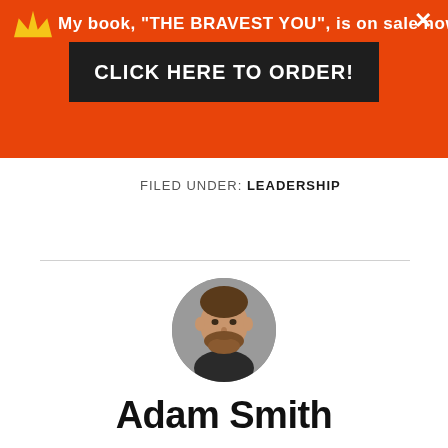My book, "THE BRAVEST YOU", is on sale now. CLICK HERE TO ORDER!
FILED UNDER: LEADERSHIP
[Figure (photo): Circular portrait photo of Adam Smith, a man with short hair and a beard, wearing a dark shirt, against a grey background.]
Adam Smith
I teach people how to have a greater impact through their work and their